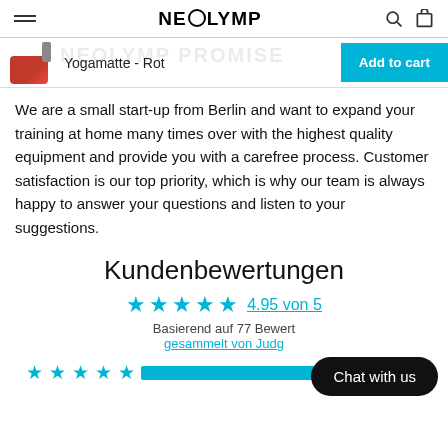NEOLYMP
[Figure (screenshot): Sticky product bar with red yoga mat thumbnail, product title 'Yogamatte - Rot', and cyan 'Add to cart' button]
We are a small start-up from Berlin and want to expand your training at home many times over with the highest quality equipment and provide you with a carefree process. Customer satisfaction is our top priority, which is why our team is always happy to answer your questions and listen to your suggestions.
Kundenbewertungen
4.95 von 5
Basierend auf 77 Bewert
gesammelt von Judg
[Figure (infographic): Chat with us button overlay (dark rounded pill)]
[Figure (infographic): 5-star rating row with cyan progress bar and count 73]